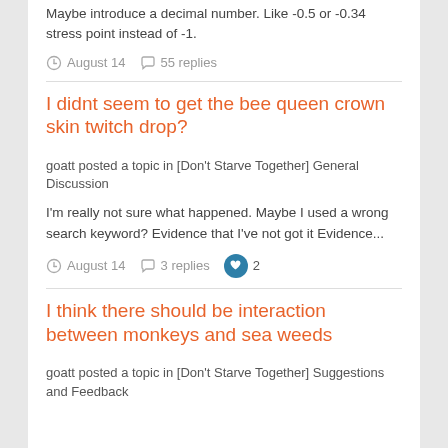Maybe introduce a decimal number. Like -0.5 or -0.34 stress point instead of -1.
August 14   55 replies
I didnt seem to get the bee queen crown skin twitch drop?
goatt posted a topic in [Don't Starve Together] General Discussion
I'm really not sure what happened. Maybe I used a wrong search keyword? Evidence that I've not got it Evidence...
August 14   3 replies   2
I think there should be interaction between monkeys and sea weeds
goatt posted a topic in [Don't Starve Together] Suggestions and Feedback